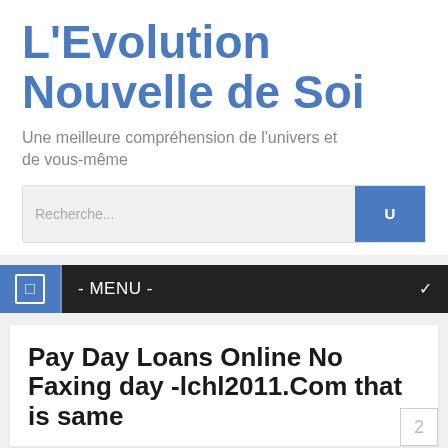L'Evolution Nouvelle de Soi
Une meilleure compréhension de l'univers et de vous-même
Recherche...
- MENU -
Pay Day Loans Online No Faxing day -lchl2011.Com that is same